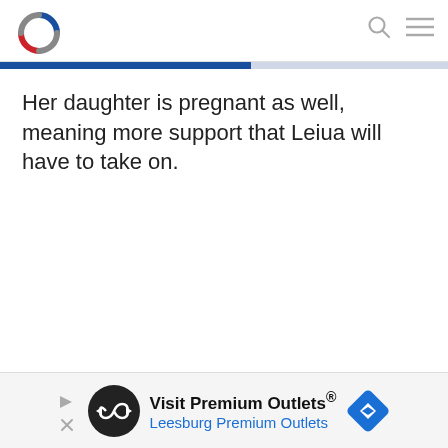[Logo: circular icon with blue and red] [Search icon] [Menu icon]
Her daughter is pregnant as well, meaning more support that Leiua will have to take on.
[Figure (infographic): Advertisement banner: Visit Premium Outlets® Leesburg Premium Outlets, with circular logo and navigation diamond icon]